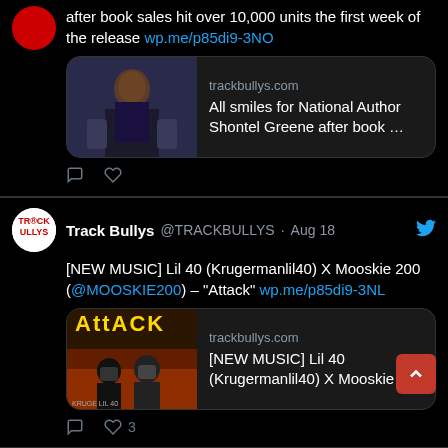[Figure (screenshot): Partial tweet (top) showing text: 'after book sales hit over 10,000 units the first week of the release wp.me/p85di9-3NO' with a link preview card for trackbullys.com showing 'All smiles for National Author Shontel Greene after book ...']
[Figure (screenshot): Full tweet by Track Bullys @TRACKBULLYS Aug 18: '[NEW MUSIC] Lil 40 (Krugermanlil40) X Mooskie 200 (@MOOSKIE200) – Attack wp.me/p85di9-3NL' with link preview card for trackbullys.com showing '[NEW MUSIC] Lil 40 (Krugermanlil40) X Mooskie ...' and 3 likes]